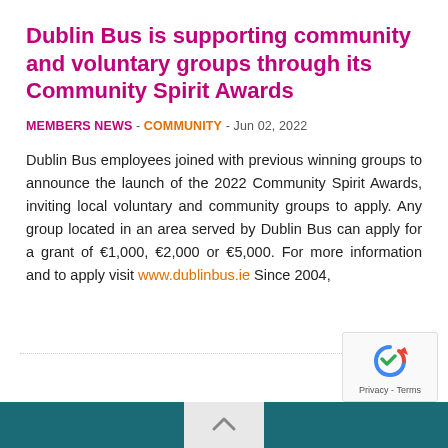Dublin Bus is supporting community and voluntary groups through its Community Spirit Awards
MEMBERS NEWS - COMMUNITY - Jun 02, 2022
Dublin Bus employees joined with previous winning groups to announce the launch of the 2022 Community Spirit Awards, inviting local voluntary and community groups to apply. Any group located in an area served by Dublin Bus can apply for a grant of €1,000, €2,000 or €5,000. For more information and to apply visit www.dublinbus.ie Since 2004,